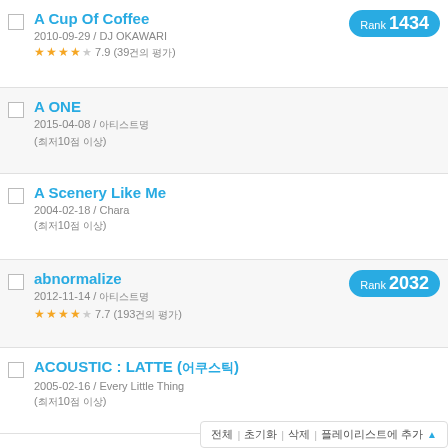A Cup Of Coffee
2010-09-29 / DJ OKAWARI
★★★★☆ 7.9 (39건의 평가)
Rank 1434
A ONE
2015-04-08 / 아티스트명
(최저10점 이상)
A Scenery Like Me
2004-02-18 / Chara
(최저10점 이상)
abnormalize
2012-11-14 / 아티스트명
★★★★☆ 7.7 (193건의 평가)
Rank 2032
ACOUSTIC : LATTE (어쿠스틱)
2005-02-16 / Every Little Thing
(최저10점 이상)